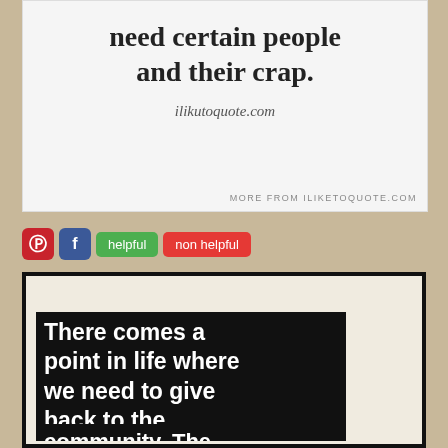need certain people and their crap.
ilikutoquote.com
MORE FROM ILIKUTOQUOTE.COM
[Figure (screenshot): Social sharing buttons: Pinterest (red), Facebook (blue), green helpful button, red non helpful button]
[Figure (photo): Quote image on cream background with black bold text: There comes a point in life where we need to give back to the community. The (text continues below frame)]